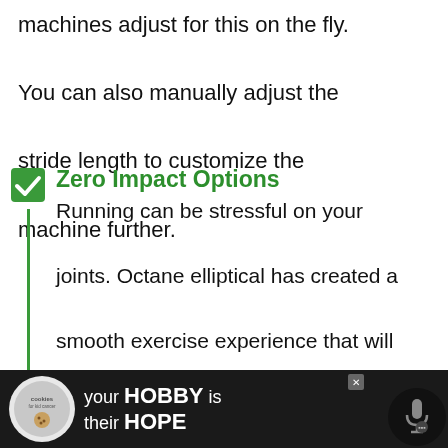machines adjust for this on the fly. You can also manually adjust the stride length to customize the machine further.
Zero Impact Options
Running can be stressful on your joints. Octane elliptical has created a smooth exercise experience that will have zero impact on your joints. The smooth gliding elliptical will make you feel as if you are running on air.
[Figure (infographic): Advertisement banner at the bottom: dark background with cookies for kid cancer logo on the left, text 'your HOBBY is their HOPE' in white, and a close button X.]